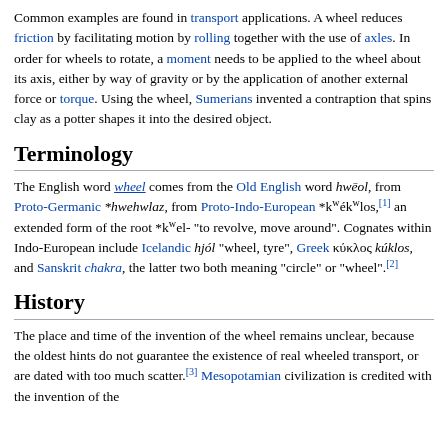Common examples are found in transport applications. A wheel reduces friction by facilitating motion by rolling together with the use of axles. In order for wheels to rotate, a moment needs to be applied to the wheel about its axis, either by way of gravity or by the application of another external force or torque. Using the wheel, Sumerians invented a contraption that spins clay as a potter shapes it into the desired object.
Terminology
The English word wheel comes from the Old English word hwēol, from Proto-Germanic *hwehwlaz, from Proto-Indo-European *kʷékʷlos,[1] an extended form of the root *kʷel- "to revolve, move around". Cognates within Indo-European include Icelandic hjól "wheel, tyre", Greek κύκλος kúklos, and Sanskrit chakra, the latter two both meaning "circle" or "wheel".[2]
History
The place and time of the invention of the wheel remains unclear, because the oldest hints do not guarantee the existence of real wheeled transport, or are dated with too much scatter.[3] Mesopotamian civilization is credited with the invention of the